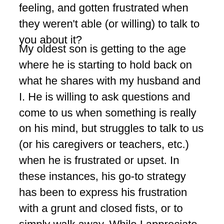feeling, and gotten frustrated when they weren't able (or willing) to talk to you about it?
My oldest son is getting to the age where he is starting to hold back on what he shares with my husband and I. He is willing to ask questions and come to us when something is really on his mind, but struggles to talk to us (or his caregivers or teachers, etc.) when he is frustrated or upset. In these instances, his go-to strategy has been to express his frustration with a grunt and closed fists, or to simply walk away. While I appreciate him being aware enough that he knows he needs to calm himself done before responding, I yearn for him to talk to me (or my husband, or his caregiver, teacher, etc.) to tell us what is going on and why he is getting so frustrated, angry or upset. When he doesn't or isn't willing, I feel helpless to help him. It's feels awful.